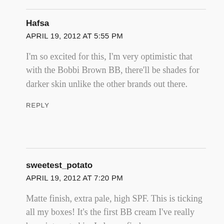Hafsa
APRIL 19, 2012 AT 5:55 PM
I'm so excited for this, I'm very optimistic that with the Bobbi Brown BB, there'll be shades for darker skin unlike the other brands out there.
REPLY
sweetest_potato
APRIL 19, 2012 AT 7:20 PM
Matte finish, extra pale, high SPF. This is ticking all my boxes! It's the first BB cream I've really been interested in. I always find